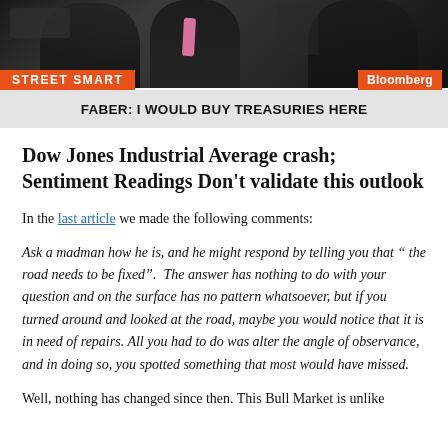[Figure (screenshot): Bloomberg TV screenshot showing two men in suits on the Street Smart program, with an orange 'STREET SMART' lower-third graphic, Bloomberg logo, and a news ticker reading 'FABER: I WOULD BUY TREASURIES HERE']
Dow Jones Industrial Average crash; Sentiment Readings Don't validate this outlook
In the last article we made the following comments:
Ask a madman how he is, and he might respond by telling you that “ the road needs to be fixed”.  The answer has nothing to do with your question and on the surface has no pattern whatsoever, but if you turned around and looked at the road, maybe you would notice that it is in need of repairs. All you had to do was alter the angle of observance, and in doing so, you spotted something that most would have missed.
Well, nothing has changed since then. This Bull Market is unlike